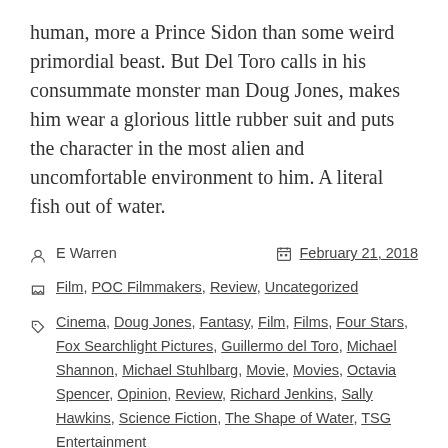human, more a Prince Sidon than some weird primordial beast. But Del Toro calls in his consummate monster man Doug Jones, makes him wear a glorious little rubber suit and puts the character in the most alien and uncomfortable environment to him. A literal fish out of water.
E Warren   February 21, 2018
Film, POC Filmmakers, Review, Uncategorized
Cinema, Doug Jones, Fantasy, Film, Films, Four Stars, Fox Searchlight Pictures, Guillermo del Toro, Michael Shannon, Michael Stuhlbarg, Movie, Movies, Octavia Spencer, Opinion, Review, Richard Jenkins, Sally Hawkins, Science Fiction, The Shape of Water, TSG Entertainment